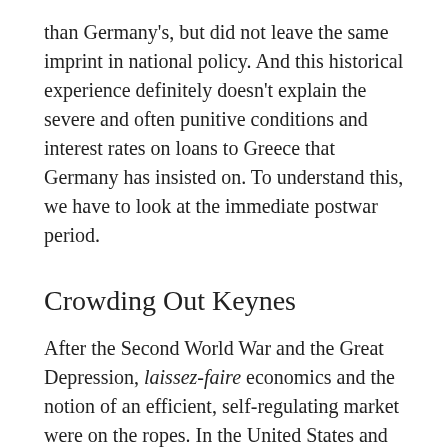than Germany's, but did not leave the same imprint in national policy. And this historical experience definitely doesn't explain the severe and often punitive conditions and interest rates on loans to Greece that Germany has insisted on. To understand this, we have to look at the immediate postwar period.
Crowding Out Keynes
After the Second World War and the Great Depression, laissez-faire economics and the notion of an efficient, self-regulating market were on the ropes. In the United States and much of Europe public intellectuals and scholars declared unregulated capitalism obsolete. Some argued that market principles had been useful in the nineteenth century, but that large, complicated twentieth